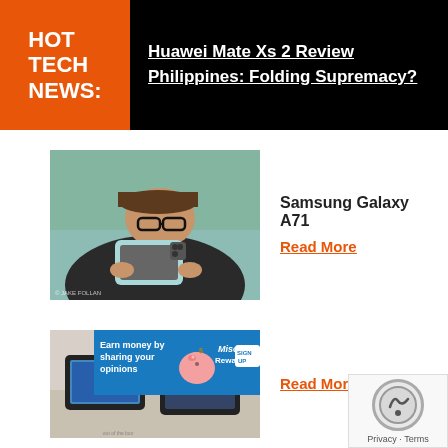HOT TECH NEWS:
Huawei Mate Xs 2 Review Philippines: Folding Supremacy?
[Figure (photo): Person holding a light blue smartphone, wearing glasses and a dark cap, photographed outdoors]
Samsung Galaxy A71
Read More
[Figure (photo): Two Android tablets on a surface with an advertisement banner overlay reading 'Earn money by sharing your opinions' with Miso Rewards branding and piggy bank graphic]
Read More